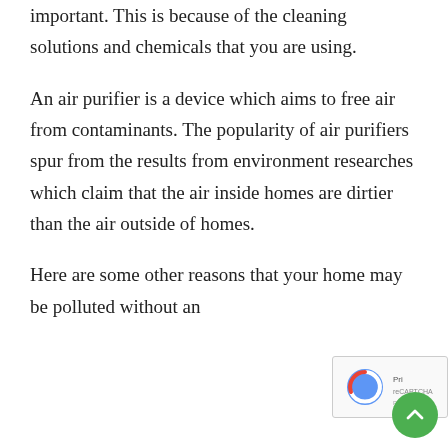important. This is because of the cleaning solutions and chemicals that you are using.
An air purifier is a device which aims to free air from contaminants. The popularity of air purifiers spur from the results from environment researches which claim that the air inside homes are dirtier than the air outside of homes.
Here are some other reasons that your home may be polluted without an